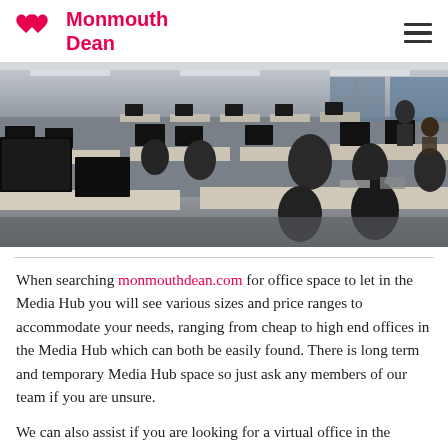Monmouth Dean
[Figure (photo): Large open-plan office space with rows of desks, computer monitors, and office chairs. The space is well-lit with ceiling lights. A few people are visible in the background.]
When searching monmouthdean.com for office space to let in the Media Hub you will see various sizes and price ranges to accommodate your needs, ranging from cheap to high end offices in the Media Hub which can both be easily found. There is long term and temporary Media Hub space so just ask any members of our team if you are unsure.
We can also assist if you are looking for a virtual office in the